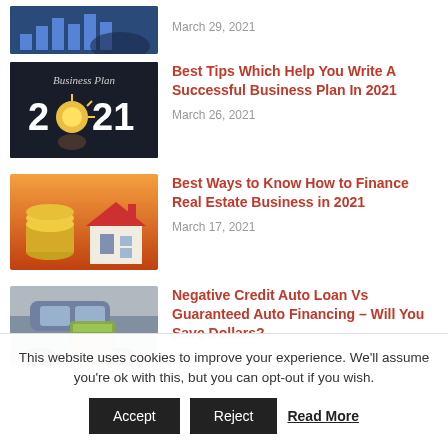[Figure (photo): Partial article row at top: image of person with bar charts, date March 29, 2021]
March 29, 2021
[Figure (photo): Business Plan 2021 article image: dark background with '2021' text and light bulb]
Best Tips Which Help You Write A Successful Business Plan In 2021
March 26, 2021
[Figure (photo): Real estate finance article image: house model with gold coins on warm orange background]
Best Ways to Know How to Finance Real Estate Business in 2021
March 17, 2021
[Figure (photo): Auto loan article image: person holding cash near car]
Negative Credit Auto Loan Vs Guaranteed Auto Financing – Will You Save Dollars?
This website uses cookies to improve your experience. We'll assume you're ok with this, but you can opt-out if you wish.